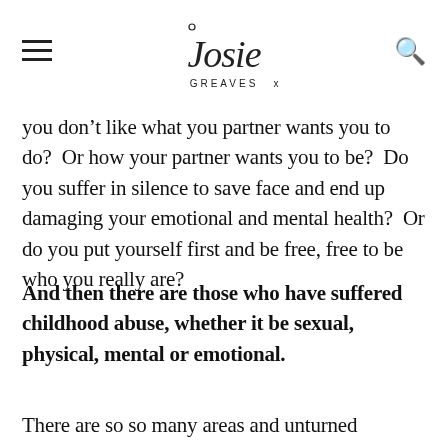Josie Greaves x
you don’t like what you partner wants you to do?  Or how your partner wants you to be?  Do you suffer in silence to save face and end up damaging your emotional and mental health?  Or do you put yourself first and be free, free to be who you really are?
And then there are those who have suffered childhood abuse, whether it be sexual, physical, mental or emotional.
There are so so many areas and unturned